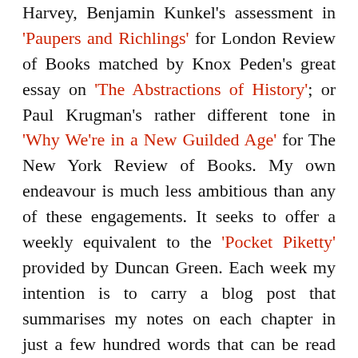Harvey, BenjaminKunkel's assessment in 'Paupers and Richlings' for London Review of Books matched by Knox Peden's great essay on 'The Abstractions of History'; or Paul Krugman's rather different tone in 'Why We're in a New Guilded Age' for The New York Review of Books. My own endeavour is much less ambitious than any of these engagements. It seeks to offer a weekly equivalent to the 'Pocket Piketty' provided by Duncan Green. Each week my intention is to carry a blog post that summarises my notes on each chapter in just a few hundred words that can be read quickly. The purpose of these summaries is to produce an interpretative synopsis of each chapter drawn from my more detailed notes.

These interpretative digests will also enable me to